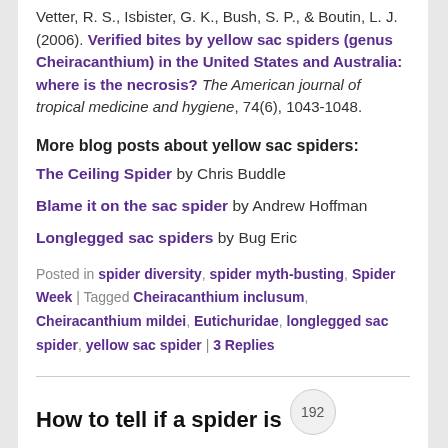Vetter, R. S., Isbister, G. K., Bush, S. P., & Boutin, L. J. (2006). Verified bites by yellow sac spiders (genus Cheiracanthium) in the United States and Australia: where is the necrosis? The American journal of tropical medicine and hygiene, 74(6), 1043-1048.
More blog posts about yellow sac spiders:
The Ceiling Spider by Chris Buddle
Blame it on the sac spider by Andrew Hoffman
Longlegged sac spiders by Bug Eric
Posted in spider diversity, spider myth-busting, Spider Week | Tagged Cheiracanthium inclusum, Cheiracanthium mildei, Eutichuridae, longlegged sac spider, yellow sac spider | 3 Replies
How to tell if a spider is